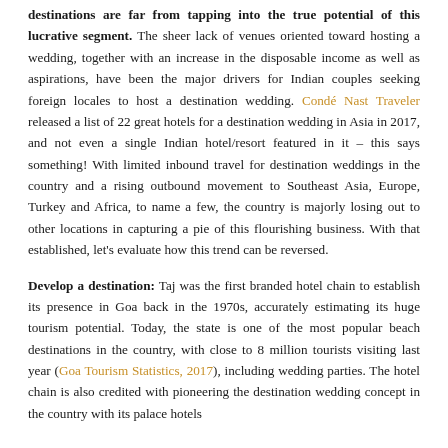destinations are far from tapping into the true potential of this lucrative segment. The sheer lack of venues oriented toward hosting a wedding, together with an increase in the disposable income as well as aspirations, have been the major drivers for Indian couples seeking foreign locales to host a destination wedding. Condé Nast Traveler released a list of 22 great hotels for a destination wedding in Asia in 2017, and not even a single Indian hotel/resort featured in it – this says something! With limited inbound travel for destination weddings in the country and a rising outbound movement to Southeast Asia, Europe, Turkey and Africa, to name a few, the country is majorly losing out to other locations in capturing a pie of this flourishing business. With that established, let's evaluate how this trend can be reversed.
Develop a destination: Taj was the first branded hotel chain to establish its presence in Goa back in the 1970s, accurately estimating its huge tourism potential. Today, the state is one of the most popular beach destinations in the country, with close to 8 million tourists visiting last year (Goa Tourism Statistics, 2017), including wedding parties. The hotel chain is also credited with pioneering the destination wedding concept in the country with its palace hotels